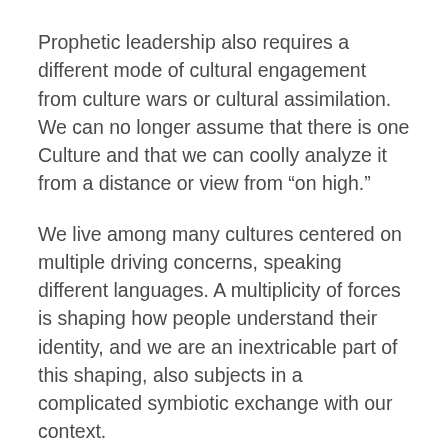Prophetic leadership also requires a different mode of cultural engagement from culture wars or cultural assimilation. We can no longer assume that there is one Culture and that we can coolly analyze it from a distance or view from “on high.”
We live among many cultures centered on multiple driving concerns, speaking different languages. A multiplicity of forces is shaping how people understand their identity, and we are an inextricable part of this shaping, also subjects in a complicated symbiotic exchange with our context.
Prophetic leadership requires listening, not presuming, and being patient enough to discern what words mean, and what drives persons in